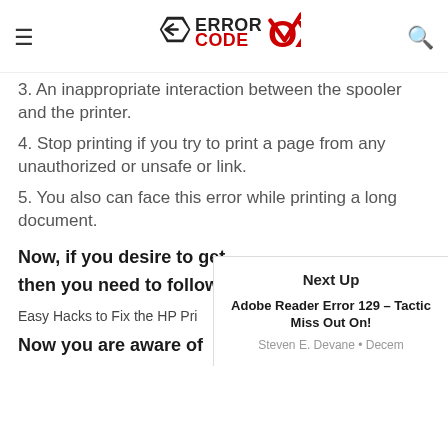Error Code OX (logo)
3. An inappropriate interaction between the spooler and the printer.
4. Stop printing if you try to print a page from any unauthorized or unsafe or link.
5. You also can face this error while printing a long document.
Now, if you desire to get [truncated] then you need to follow [truncated]
Easy Hacks to Fix the HP Pri[truncated]
Now you are aware of [truncated]
Next Up
Adobe Reader Error 129 – Tactic[truncated] Miss Out On!
Steven E. Devane • Decem[truncated]